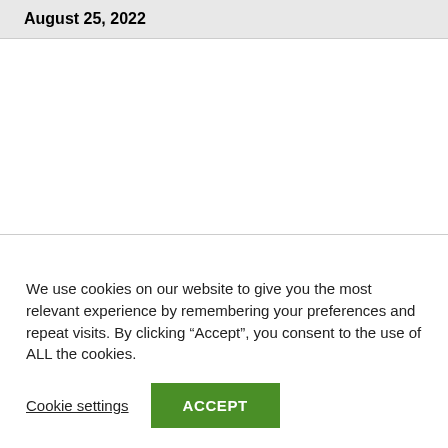August 25, 2022
We use cookies on our website to give you the most relevant experience by remembering your preferences and repeat visits. By clicking “Accept”, you consent to the use of ALL the cookies.
Cookie settings
ACCEPT